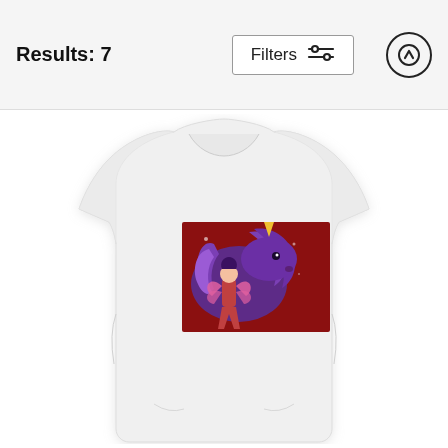Results: 7
[Figure (screenshot): Filters button with sliders icon and up-arrow circle button in header bar]
[Figure (photo): White women's fitted t-shirt with fantasy illustration of a fairy and purple unicorn/horse graphic printed on the chest area]